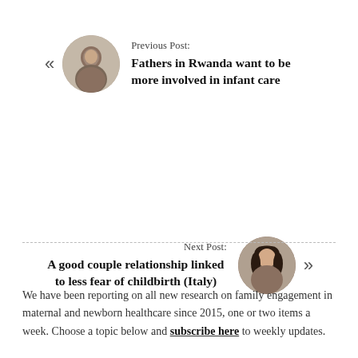Previous Post:
Fathers in Rwanda want to be more involved in infant care
[Figure (photo): Circular avatar photo of a man, used as previous post thumbnail]
Next Post:
A good couple relationship linked to less fear of childbirth (Italy)
[Figure (photo): Circular avatar photo of a woman, used as next post thumbnail]
We have been reporting on all new research on family engagement in maternal and newborn healthcare since 2015, one or two items a week. Choose a topic below and subscribe here to weekly updates.